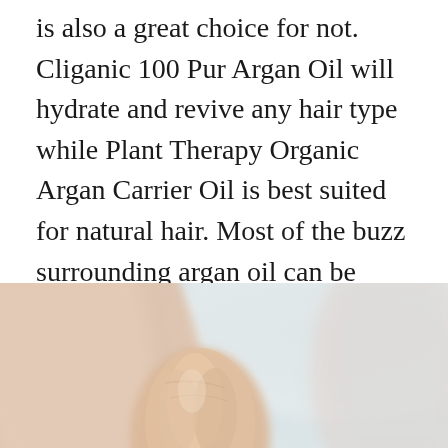is also a great choice for not. Cliganic 100 Pur Argan Oil will hydrate and revive any hair type while Plant Therapy Organic Argan Carrier Oil is best suited for natural hair. Most of the buzz surrounding argan oil can be attributed to this award-winning hair treatment from Moroccanoil. InstaNatural Organic Argan Oil.
[Figure (photo): Close-up photo of a person's hand or fingers against a soft blurred background, showing skin tones of peach and light beige.]